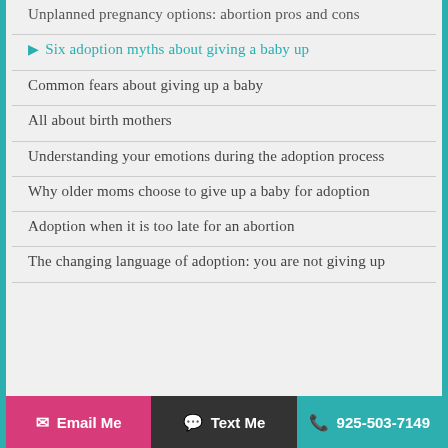Unplanned pregnancy options: abortion pros and cons
Six adoption myths about giving a baby up
Common fears about giving up a baby
All about birth mothers
Understanding your emotions during the adoption process
Why older moms choose to give up a baby for adoption
Adoption when it is too late for an abortion
The changing language of adoption: you are not giving up
Email Me   Text Me   925-503-7149